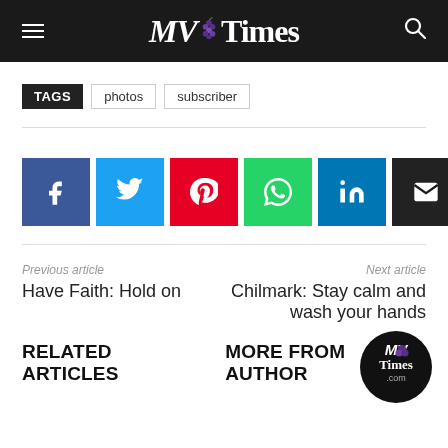MV Times
TAGS  photos  subscriber
[Figure (infographic): Row of social sharing buttons: Facebook (blue), Twitter (light blue), Pinterest (red), WhatsApp (green), LinkedIn (dark blue), Email (black), Print (gray)]
Previous article
Have Faith: Hold on
Next article
Chilmark: Stay calm and wash your hands
RELATED ARTICLES   MORE FROM AUTHOR
[Figure (logo): MV Times .com circular badge logo, black background with white text and purple grape icon]